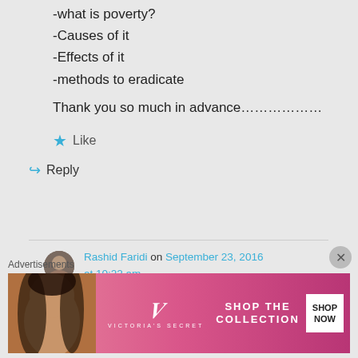-what is poverty?
-Causes of it
-Effects of it
-methods to eradicate
Thank you so much in advance………………
★ Like
↪ Reply
Rashid Faridi on September 23, 2016 at 10:22 am
please see
Advertisements
[Figure (photo): Victoria's Secret advertisement banner with woman, VS logo, 'SHOP THE COLLECTION', and 'SHOP NOW' button]